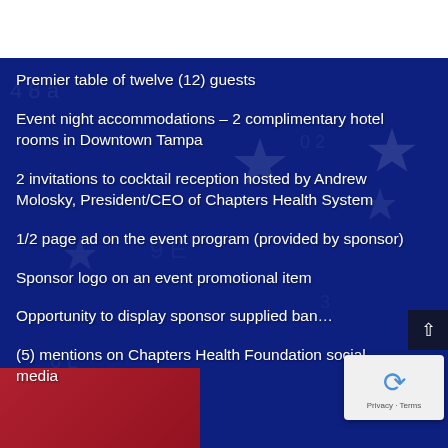Premier table of twelve (12) guests
Event night accommodations – 2 complimentary hotel rooms in Downtown Tampa
2 invitations to cocktail reception hosted by Andrew Molosky, President/CEO of Chapters Health System
1/2 page ad on the event program (provided by sponsor)
Sponsor logo on an event promotional item
Opportunity to display sponsor supplied ban…
(5) mentions on Chapters Health Foundation social media